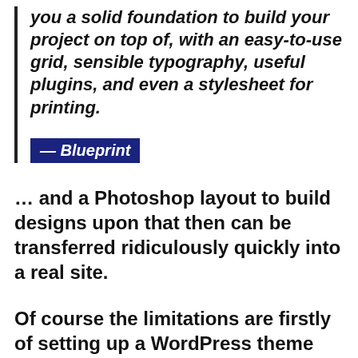you a solid foundation to build your project on top of, with an easy-to-use grid, sensible typography, useful plugins, and even a stylesheet for printing.
— Blueprint
… and a Photoshop layout to build designs upon that then can be transferred ridiculously quickly into a real site.
Of course the limitations are firstly of setting up a WordPress theme with all the necessary IDs and classes. Lucky someone else did that for me. Combining the Sandbox theme framework with the WSB Child Theme…